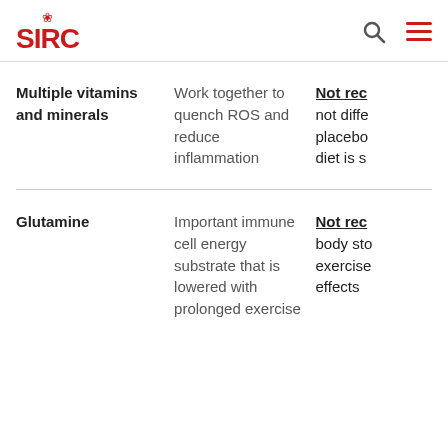SIRC
| Supplement | Function | Recommendation |
| --- | --- | --- |
| Multiple vitamins and minerals | Work together to quench ROS and reduce inflammation | Not rec... not diffe... placebo... diet is s... |
| Glutamine | Important immune cell energy substrate that is lowered with prolonged exercise | Not rec... body sto... exercise... effects |